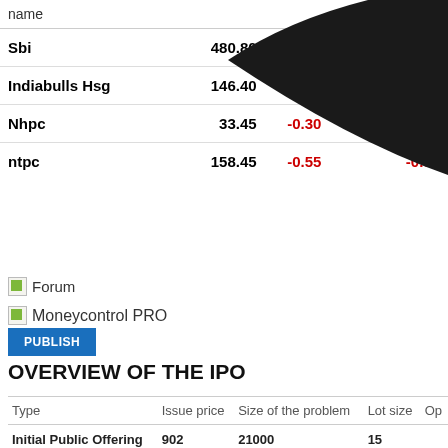| name |  |  | % changes |
| --- | --- | --- | --- |
| Sbi | 480.80 |  |  |
| Indiabulls Hsg | 146.40 | -0.20 | -0.14 |
| Nhpc | 33.45 | -0.30 | -0.89 |
| ntpc | 158.45 | -0.55 | -0.35 |
[Figure (illustration): Black swoosh/curve decorative overlay in top-right corner]
[Figure (logo): Forum icon with small green image placeholder]
Forum
[Figure (logo): Moneycontrol PRO icon with small image placeholder]
Moneycontrol PRO
PUBLISH
OVERVIEW OF THE IPO
| Type | Issue price | Size of the problem | Lot size | Op |
| --- | --- | --- | --- | --- |
| Initial Public Offering | 902 | 21000 | 15 |  |